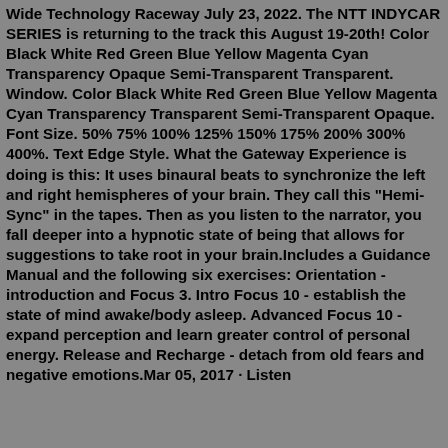Wide Technology Raceway July 23, 2022. The NTT INDYCAR SERIES is returning to the track this August 19-20th! Color Black White Red Green Blue Yellow Magenta Cyan Transparency Opaque Semi-Transparent Transparent. Window. Color Black White Red Green Blue Yellow Magenta Cyan Transparency Transparent Semi-Transparent Opaque. Font Size. 50% 75% 100% 125% 150% 175% 200% 300% 400%. Text Edge Style. What the Gateway Experience is doing is this: It uses binaural beats to synchronize the left and right hemispheres of your brain. They call this "Hemi-Sync" in the tapes. Then as you listen to the narrator, you fall deeper into a hypnotic state of being that allows for suggestions to take root in your brain.Includes a Guidance Manual and the following six exercises: Orientation - introduction and Focus 3. Intro Focus 10 - establish the state of mind awake/body asleep. Advanced Focus 10 - expand perception and learn greater control of personal energy. Release and Recharge - detach from old fears and negative emotions.Mar 05, 2017 · Listen